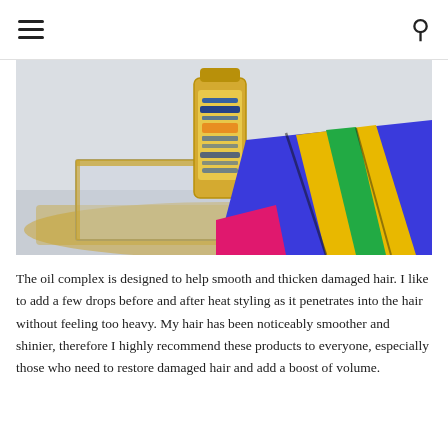hamburger menu icon | search icon
[Figure (photo): A bottle of Oblepikha Siberica hair oil product placed on a gold-rimmed glass tray next to a colorful silk scarf in blue, yellow, green, and pink colors.]
The oil complex is designed to help smooth and thicken damaged hair. I like to add a few drops before and after heat styling as it penetrates into the hair without feeling too heavy. My hair has been noticeably smoother and shinier, therefore I highly recommend these products to everyone, especially those who need to restore damaged hair and add a boost of volume.